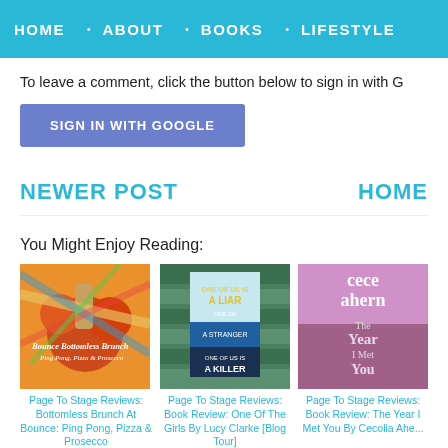HOME · ABOUT · BOOKS · LIFESTYLE
To leave a comment, click the button below to sign in with G
SIGN IN WITH GOOGLE
NEWER POST
HOME
You Might Enjoy Reading:
[Figure (photo): Bounce Bottomless Brunch Ping Pong Pizza & Prosecco - colorful ping pong event photo]
Page To Stage Reviews: Bottomless Brunch At Bounce: Ping Pong, Pizza & Prosecco
[Figure (photo): Book cover - One Of Us Is A Liar, One Of Us Is A Stranger, One Of Us Is A Killer]
Page To Stage Reviews: Book Review: One Of The Girls By Lucy Clarke [Blog Tour]
[Figure (photo): Book cover - Cecelia Ahern: The Year I Met You]
Page To Stage Reviews: Book Review: The Year I Met You By Cecolia Ahe...